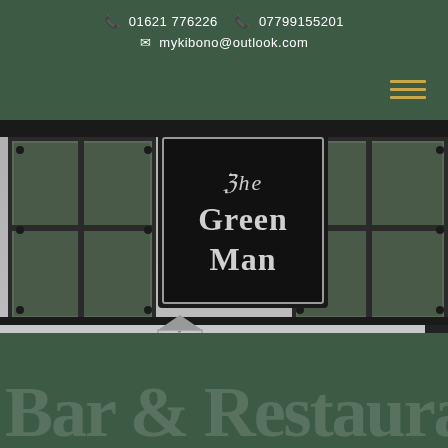📞 01621 776226  📞 07799155201  ✉ mykibono@outlook.com
[Figure (photo): Black and white photograph of the exterior of The Green Man pub, showing a hanging sign with gothic lettering reading 'The Green Man', two sash windows on either side, and lantern-style lights on the white-painted brick wall.]